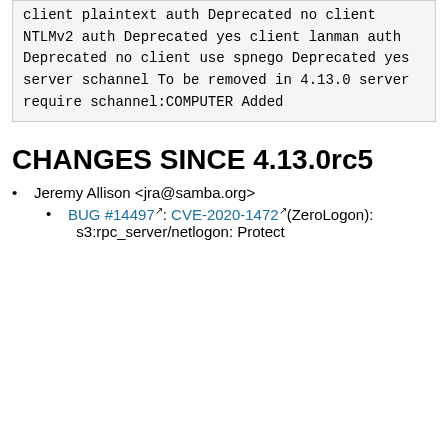| client plaintext auth |  |
| Deprecated | no |
| client NTLMv2 auth |  |
| Deprecated | yes |
| client lanman auth |  |
| Deprecated | no |
| client use spnego |  |
| Deprecated | yes |
| server schannel | To be removed in 4.13.0 |
| server require schannel:COMPUTER | Added |
CHANGES SINCE 4.13.0rc5
Jeremy Allison <jra@samba.org>
BUG #14497: CVE-2020-1472(ZeroLogon): s3:rpc_server/netlogon: Protect